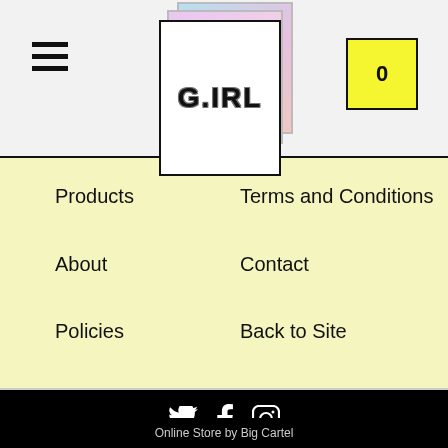[Figure (screenshot): Website header with hamburger menu icon on left, G.IRL logo in center (stacked card design with pink/blue gradient cards behind white front card), and yellow cart button showing 0 on right]
Products
About
Policies
Shipping
Terms and Conditions
Contact
Back to Site
[Figure (screenshot): Black footer with Twitter, Facebook, and Instagram social media icons in white]
Online Store by Big Cartel